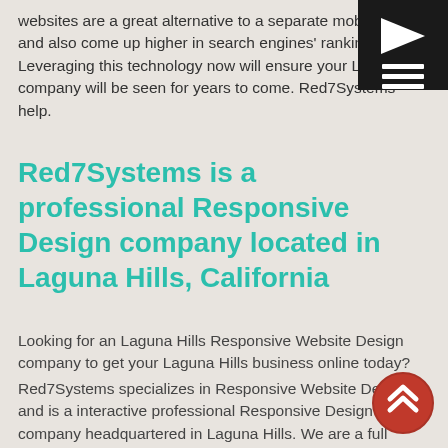websites are a great alternative to a separate mobile site and also come up higher in search engines' rankings. Leveraging this technology now will ensure your Laguna company will be seen for years to come. Red7Systems help.
[Figure (logo): Black square navigation icon with white right-pointing arrow/chevron symbol and three white horizontal menu lines below it]
Red7Systems is a professional Responsive Design company located in Laguna Hills, California
Looking for an Laguna Hills Responsive Website Design company to get your Laguna Hills business online today?
Red7Systems specializes in Responsive Website Design and is a interactive professional Responsive Design company headquartered in Laguna Hills. We are a full service Laguna Hills design company who creates beautiful websites and
[Figure (illustration): Red circular back-to-top button with white double chevron arrows pointing upward]